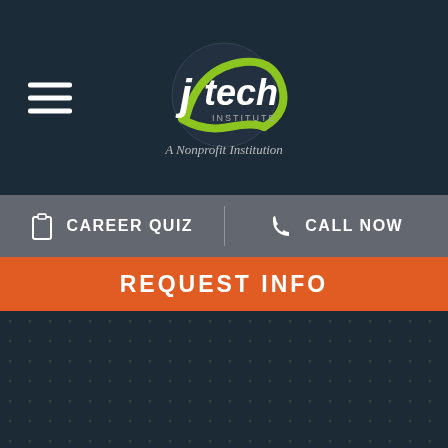[Figure (logo): JTech Institute logo - green tech-style logo with text 'A Nonprofit Institution' below]
CAREER QUIZ   CALL NOW
REQUEST INFO
ACCREDITED   INDUSTRY INSIGHT
[Figure (photo): Photo strip showing technical/vocational training equipment and students]
LIVE CHAT   TEXT US